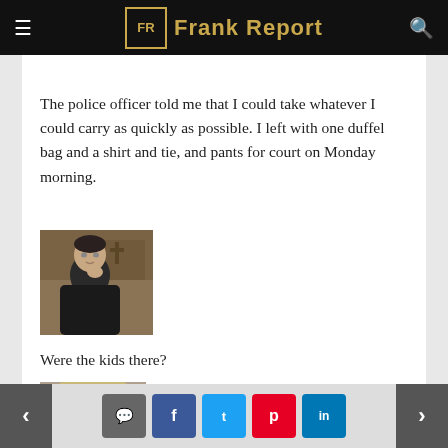Frank Report
[Figure (photo): Partial view of a person at top of article]
The police officer told me that I could take whatever I could carry as quickly as possible. I left with one duffel bag and a shirt and tie, and pants for court on Monday morning.
[Figure (photo): Man in dark clothing sitting in what appears to be a courtroom, hand raised to chin in thoughtful pose]
Were the kids there?
[Figure (photo): Partial view of a blonde person with glasses at bottom of article]